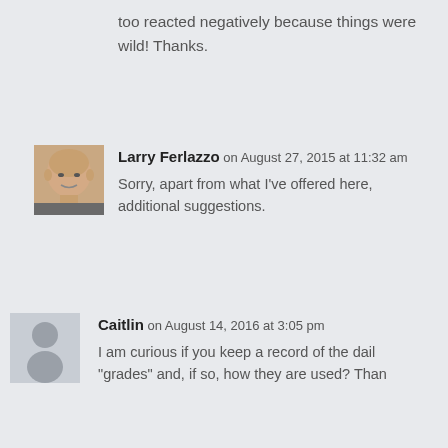too reacted negatively because things were wild! Thanks.
[Figure (photo): Profile photo of Larry Ferlazzo, a bald man]
Larry Ferlazzo on August 27, 2015 at 11:32 am
Sorry, apart from what I've offered here, additional suggestions.
[Figure (illustration): Generic grey silhouette avatar placeholder]
Caitlin on August 14, 2016 at 3:05 pm
I am curious if you keep a record of the daily "grades" and, if so, how they are used? Than